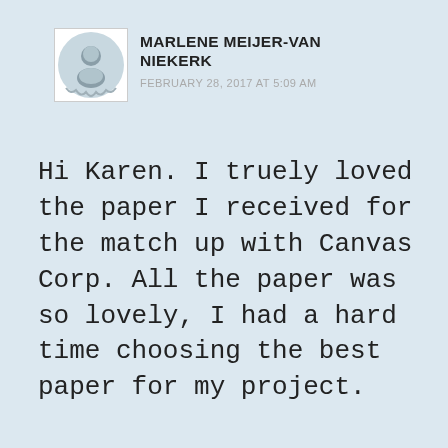[Figure (illustration): Circular avatar photo of Marlene Meijer-Van Niekerk with decorative ribbon/banner border]
MARLENE MEIJER-VAN NIEKERK
FEBRUARY 28, 2017 AT 5:09 AM
Hi Karen. I truely loved the paper I received for the match up with Canvas Corp. All the paper was so lovely, I had a hard time choosing the best paper for my project.